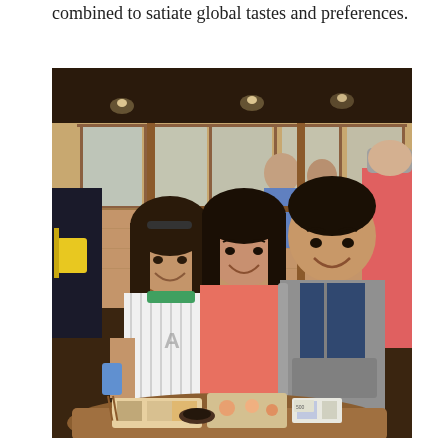combined to satiate global tastes and preferences.
[Figure (photo): Three young people smiling at the camera in a restaurant setting. Two women and one man. The woman on the left wears a white striped shirt with a green collar. The woman in the middle wears a coral/salmon colored top. The man on the right wears a gray hoodie over a navy shirt. They are seated at a round wooden table with food items including what appears to be sushi or Japanese food. The background shows a restaurant interior with wooden panels, large windows, and other diners.]